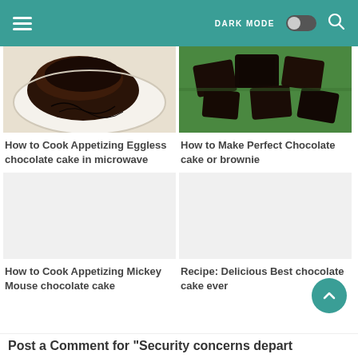DARK MODE [toggle] [search]
[Figure (photo): Photo of chocolate eggless cake slice on a white plate with chocolate sauce drizzle]
How to Cook Appetizing Eggless chocolate cake in microwave
[Figure (photo): Photo of chocolate cake or brownie pieces on a green background]
How to Make Perfect Chocolate cake or brownie
[Figure (photo): Placeholder image for Mickey Mouse chocolate cake article]
How to Cook Appetizing Mickey Mouse chocolate cake
[Figure (photo): Placeholder image for best chocolate cake ever article]
Recipe: Delicious Best chocolate cake ever
Post a Comment for "Security concerns depart